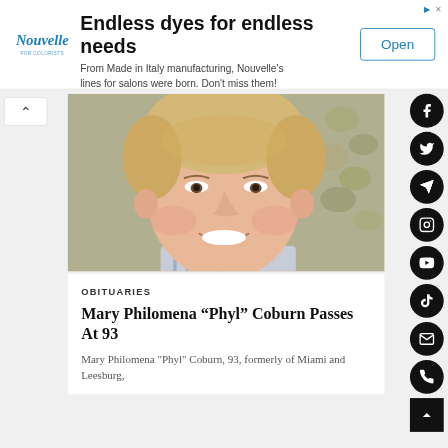[Figure (other): Advertisement banner: Nouvelle logo on left, headline 'Endless dyes for endless needs', body text 'From Made in Italy manufacturing, Nouvelle's lines for salons were born. Don't miss them! Nouvelle New Generation', and an 'Open' button on the right.]
[Figure (photo): Photograph of a smiling older woman with short blonde hair, wearing a light blue striped shirt, with a stone/pebble background.]
OBITUARIES
Mary Philomena “Phyl” Coburn Passes At 93
Mary Philomena "Phyl" Coburn, 93, formerly of Miami and Leesburg,